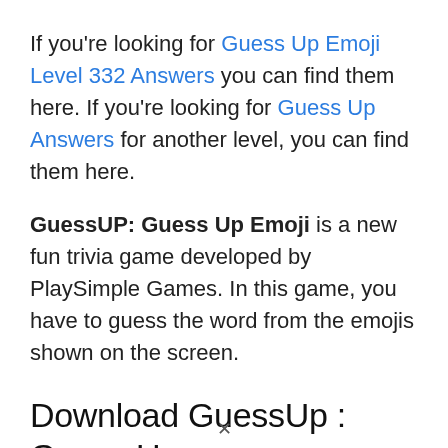If you're looking for Guess Up Emoji Level 332 Answers you can find them here. If you're looking for Guess Up Answers for another level, you can find them here.
GuessUP: Guess Up Emoji is a new fun trivia game developed by PlaySimple Games. In this game, you have to guess the word from the emojis shown on the screen.
Download GuessUp : Guess Up Emoji Game for Android and iOS